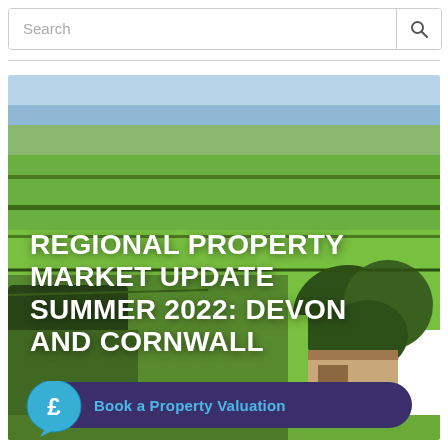Search
[Figure (photo): Aerial view of green fields and countryside in Devon and Cornwall, with trees and a farmhouse visible in the lower right corner, sea visible in the distance]
REGIONAL PROPERTY MARKET UPDATE SUMMER 2022: DEVON AND CORNWALL
Book a Property Valuation